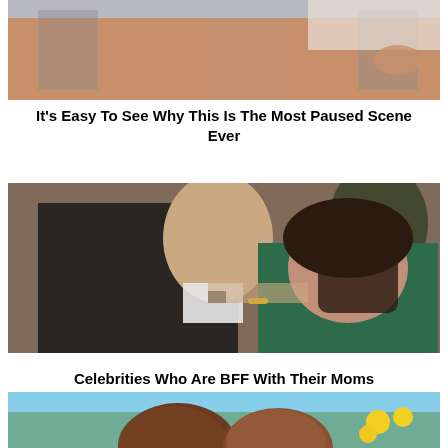[Figure (photo): Cropped photo showing legs and lower body of a person in white clothing seated at a table]
It's Easy To See Why This Is The Most Paused Scene Ever
[Figure (photo): A man in a tuxedo with bow tie leaning in close to an older woman in a green dress, appearing to share an intimate moment at an event]
Celebrities Who Are BFF With Their Moms
[Figure (photo): Partial photo showing tops of two people's heads, with yellow flowers visible in the background]